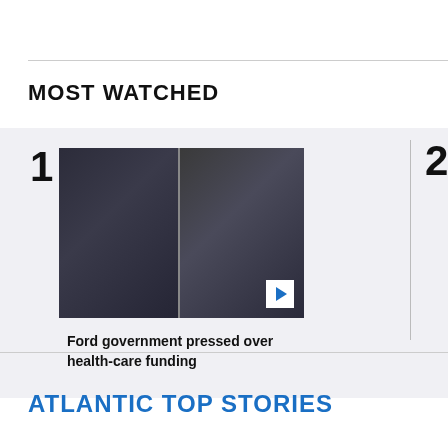MOST WATCHED
[Figure (screenshot): Video thumbnail showing two people in suits in a parliamentary or government setting]
Ford government pressed over health-care funding
[Figure (screenshot): Partially visible video thumbnail showing a dark room or meeting setting]
Onta meet
ATLANTIC TOP STORIES